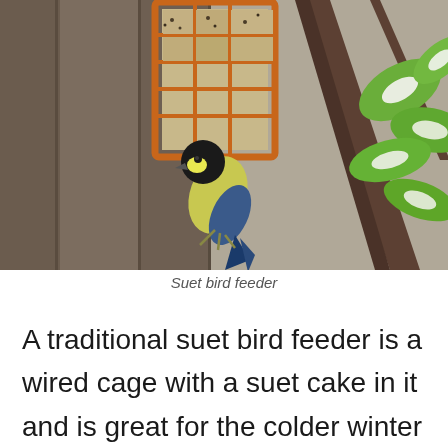[Figure (photo): A small bird (great tit) clinging to an orange wire suet cage bird feeder, with a tree branch and green-white variegated leaves visible in the background against a blurred wooden fence.]
Suet bird feeder
A traditional suet bird feeder is a wired cage with a suet cake in it and is great for the colder winter months when birds